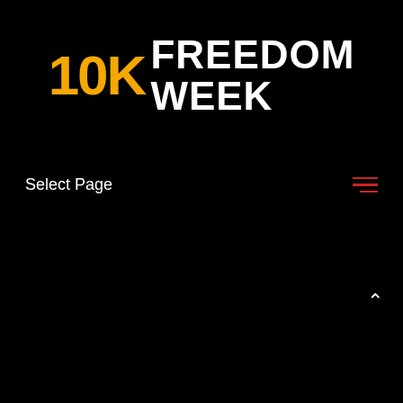10K FREEDOM WEEK
Select Page
[Figure (other): Hamburger menu icon with three red horizontal lines]